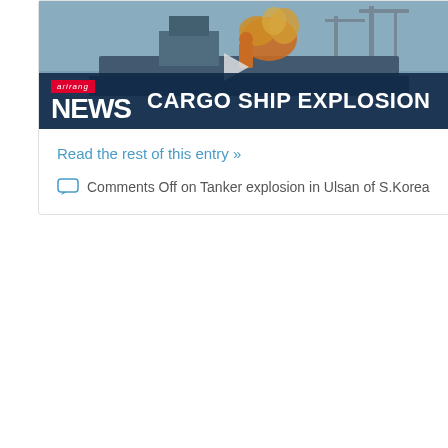[Figure (screenshot): Video thumbnail showing a cargo ship explosion news report from Arirang News. The image shows a ship with cranes and fire/explosion visible. An overlay news banner reads 'arirang NEWS CARGO SHIP EXPLOSION' with the Arirang logo on a dark navy bar.]
Read the rest of this entry »
Comments Off on Tanker explosion in Ulsan of S.Korea